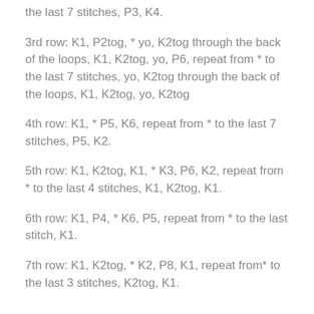the last 7 stitches, P3, K4.
3rd row: K1, P2tog, * yo, K2tog through the back of the loops, K1, K2tog, yo, P6, repeat from * to the last 7 stitches, yo, K2tog through the back of the loops, K1, K2tog, yo, K2tog
4th row: K1, * P5, K6, repeat from * to the last 7 stitches, P5, K2.
5th row: K1, K2tog, K1, * K3, P6, K2, repeat from * to the last 4 stitches, K1, K2tog, K1.
6th row: K1, P4, * K6, P5, repeat from * to the last stitch, K1.
7th row: K1, K2tog, * K2, P8, K1, repeat from* to the last 3 stitches, K2tog, K1.